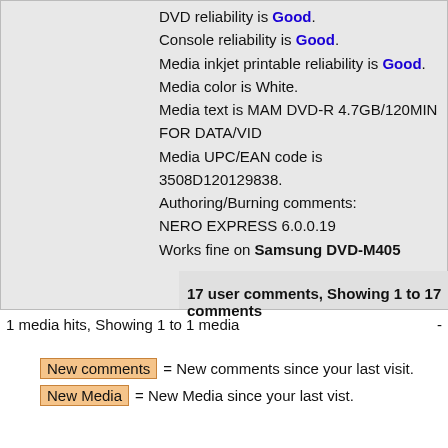DVD reliability is Good. Console reliability is Good. Media inkjet printable reliability is Good. Media color is White. Media text is MAM DVD-R 4.7GB/120MIN FOR DATA/VID Media UPC/EAN code is 3508D120129838. Authoring/Burning comments: NERO EXPRESS 6.0.0.19 Works fine on Samsung DVD-M405
17 user comments, Showing 1 to 17 comments
1 media hits, Showing 1 to 1 media -
New comments = New comments since your last visit.
New Media = New Media since your last vist.